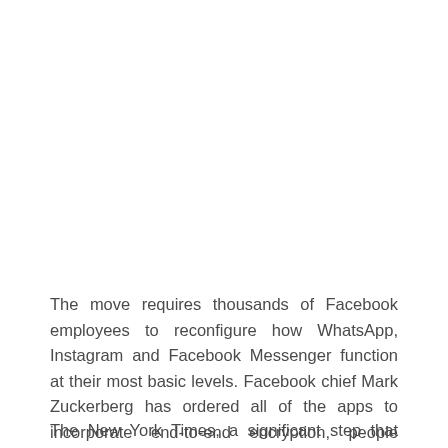The move requires thousands of Facebook employees to reconfigure how WhatsApp, Instagram and Facebook Messenger function at their most basic levels. Facebook chief Mark Zuckerberg has ordered all of the apps to incorporate end-to-end encryption, people familiar with the matter told.
The New York Times, a significant step that protects